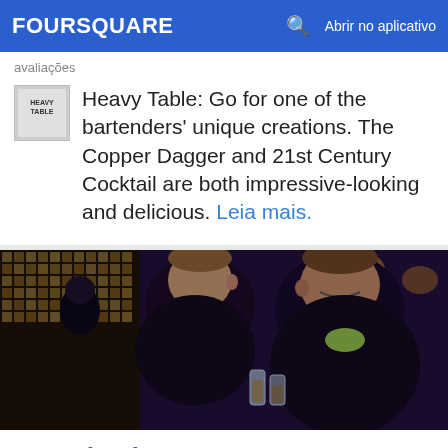FOURSQUARE  Abrir no aplicativo
avaliações
Heavy Table: Go for one of the bartenders' unique creations. The Copper Dagger and 21st Century Cocktail are both impressive-looking and delicious. Leia mais.
[Figure (photo): Two men at a bar clinking glasses, dark moody atmosphere with gold mosaic tile wall visible in background]
12. Primebar